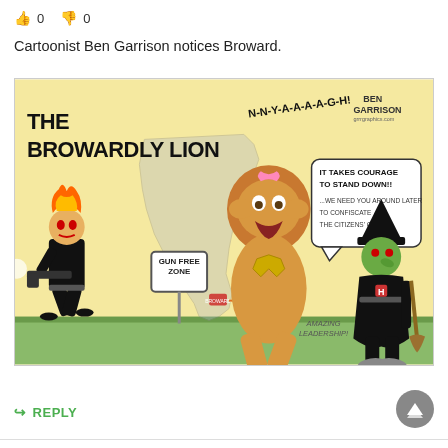👍 0  👎 0
Cartoonist Ben Garrison notices Broward.
[Figure (illustration): Ben Garrison political cartoon titled 'THE BROWARDLY LION'. Shows a cowardly lion character (representing Broward County Sheriff) running away screaming 'N-N-Y-A-A-A-A-G-H!' with a speech bubble saying 'IT TAKES COURAGE TO STAND DOWN!! ...WE NEED YOU AROUND LATER TO CONFISCATE THE CITIZENS' GUNS...'. A figure with flaming hair and black outfit carries a weapon past a 'GUN FREE ZONE' sign. A green witch character stands to the right with a broom. Background shows a map of Florida. Bottom right says 'AMAZING LEADERSHIP!' Ben Garrison signature in top right corner.]
↪ REPLY